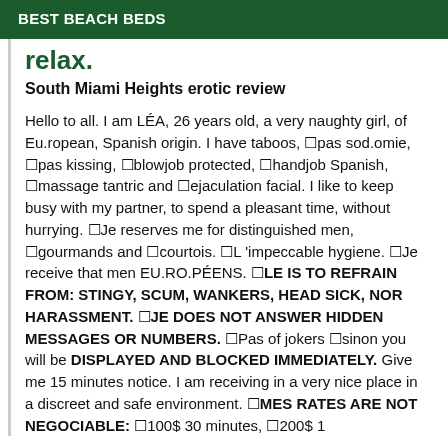BEST BEACH BEDS
relax.
South Miami Heights erotic review
Hello to all. I am LÉA, 26 years old, a very naughty girl, of Eu.ropean, Spanish origin. I have taboos, ■pas sod.omie, ■pas kissing, ■blowjob protected, ■handjob Spanish, ■massage tantric and ■ejaculation facial. I like to keep busy with my partner, to spend a pleasant time, without hurrying. ■Je reserves me for distinguished men, ■gourmands and ■courtois. ■L 'impeccable hygiene. ■Je receive that men EU.RO.PÉENS. ■LE IS TO REFRAIN FROM: STINGY, SCUM, WANKERS, HEAD SICK, NOR HARASSMENT. ■JE DOES NOT ANSWER HIDDEN MESSAGES OR NUMBERS. ■Pas of jokers ■sinon you will be DISPLAYED AND BLOCKED IMMEDIATELY. Give me 15 minutes notice. I am receiving in a very nice place in a discreet and safe environment. ■MES RATES ARE NOT NEGOCIABLE: ■100$ 30 minutes, ■200$ 1